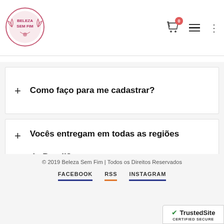[Figure (logo): Beleza Sem Fim circular logo with pink border and text]
+ Como faço para me cadastrar?
+ Vocês entregam em todas as regiões do Brasil?
+ Vocês entregam em todas as regiões do Brasil?
© 2019 Beleza Sem Fim | Todos os Direitos Reservados
FACEBOOK  RSS  INSTAGRAM
[Figure (logo): TrustedSite CERTIFIED SECURE badge]